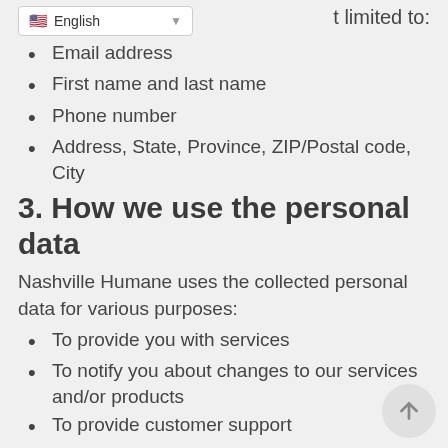English (language selector)
Email address
First name and last name
Phone number
Address, State, Province, ZIP/Postal code, City
3. How we use the personal data
Nashville Humane uses the collected personal data for various purposes:
To provide you with services
To notify you about changes to our services and/or products
To provide customer support
To gather analysis or valuable information so that we can improve our services
To detect, prevent and address